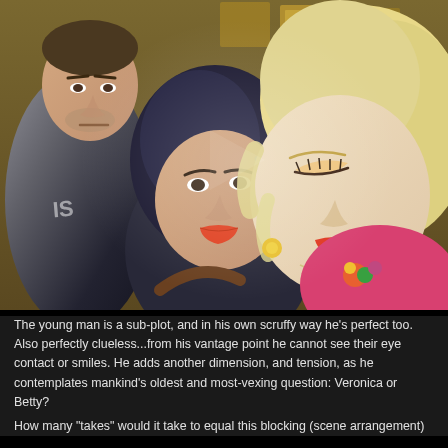[Figure (photo): A photograph showing three people: a young scruffy man on the left in a black t-shirt, a woman with dark blue hair in the middle leaning in close to kiss, and a blonde woman on the right with her eyes closed receiving the kiss. The background shows what appears to be an indoor venue with posters on the wall.]
The young man is a sub-plot, and in his own scruffy way he's perfect too.  Also perfectly clueless...from his vantage point he cannot see their eye contact or smiles.  He adds another dimension, and tension, as he contemplates mankind's oldest and most-vexing question: Veronica or Betty?
How many "takes" would it take to equal this blocking (scene arrangement)